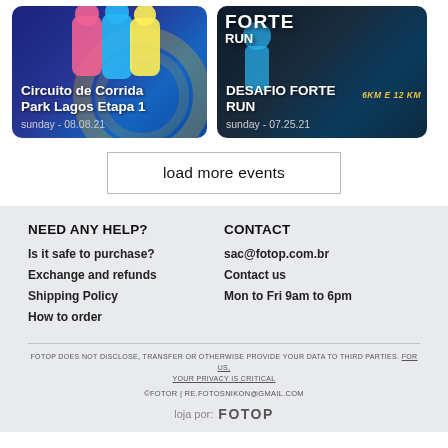[Figure (photo): Event card for Circuito de Corrida Park Lagos Etapa 1, showing runners in colorful jerseys on a dark blue background, sunday - 08.08.21]
[Figure (photo): Event card for DESAFIO FORTE RUN on a dark navy background with bold text, sunday - 07.25.21]
load more events
NEED ANY HELP?
CONTACT
Is it safe to purchase?
sac@fotop.com.br
Exchange and refunds
Contact us
Shipping Policy
Mon to Fri 9am to 6pm
How to order
FOTOP DOES NOT DISCLOSE, TRANSFER OR OTHERWISE PROVIDE YOUR DATA TO THIRD PARTIES. FOR US, YOUR PRIVACY IS CRITICAL
©FOTOR | RE.FOTOSNIKON@GMAIL.COM
loja por: FOTOP